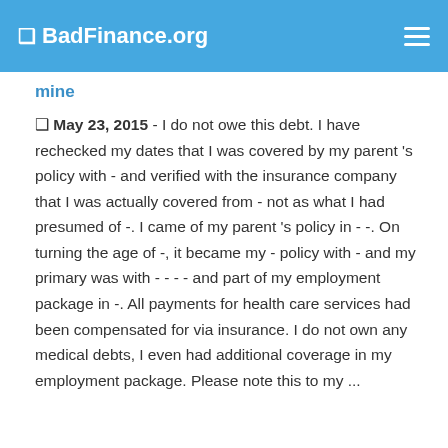❑ BadFinance.org
mine
❑ May 23, 2015 - I do not owe this debt. I have rechecked my dates that I was covered by my parent 's policy with - and verified with the insurance company that I was actually covered from - not as what I had presumed of -. I came of my parent 's policy in - -. On turning the age of -, it became my - policy with - and my primary was with - - - - and part of my employment package in -. All payments for health care services had been compensated for via insurance. I do not own any medical debts, I even had additional coverage in my employment package. Please note this to my ...